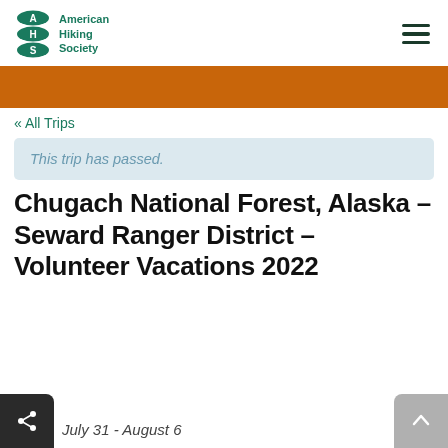[Figure (logo): American Hiking Society logo with stylized AHS letters in green oval and text 'American Hiking Society']
[Figure (other): Hamburger menu icon (three horizontal lines)]
[Figure (other): Orange banner/header bar]
« All Trips
This trip has passed.
Chugach National Forest, Alaska – Seward Ranger District – Volunteer Vacations 2022
July 31 - August 6